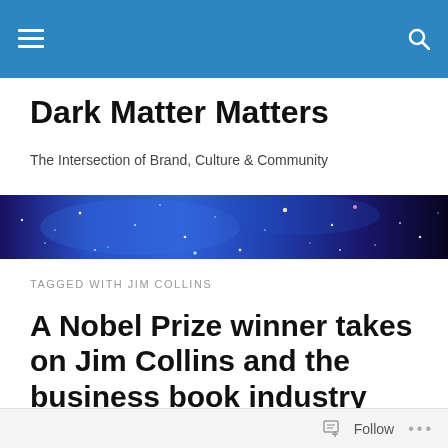Dark Matter Matters — navigation bar
Dark Matter Matters
The Intersection of Brand, Culture & Community
[Figure (photo): Wide panoramic space photograph showing a deep field of stars and galaxies against a blue-purple nebula background]
TAGGED WITH JIM COLLINS
A Nobel Prize winner takes on Jim Collins and the business book industry
Follow